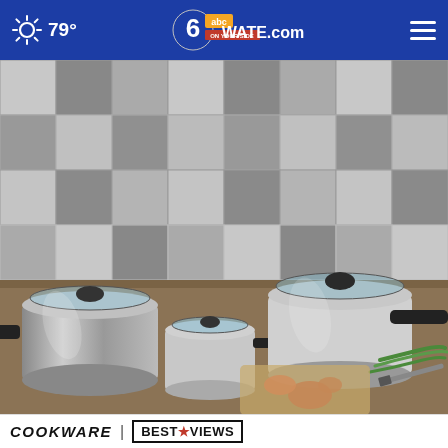79° | WATE.com (6 ABC)
[Figure (photo): Stainless steel cookware set with pots and pans displayed on a kitchen counter with tile backsplash, vegetables and cutting board in background]
COOKWARE | BESTREVIEWS